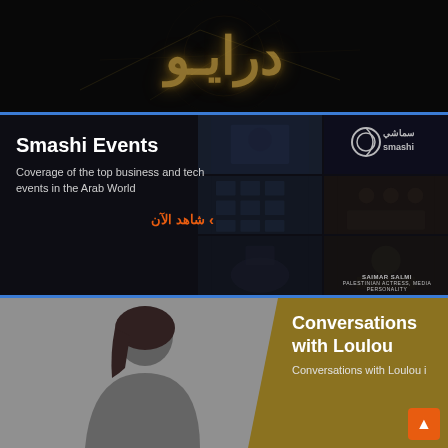[Figure (illustration): Dark hero section with stylized golden Arabic calligraphy/logo text on black background with decorative lines]
Smashi Events
Coverage of the top business and tech events in the Arab World
شاهد الآن ›
[Figure (photo): Grid of event photos on dark background with Smashi/سماشي logo in top right cell]
[Figure (photo): Photo of a woman for Conversations with Loulou show]
CONVERSATIONS
Conversations with Loulou
Conversations with Loulou i